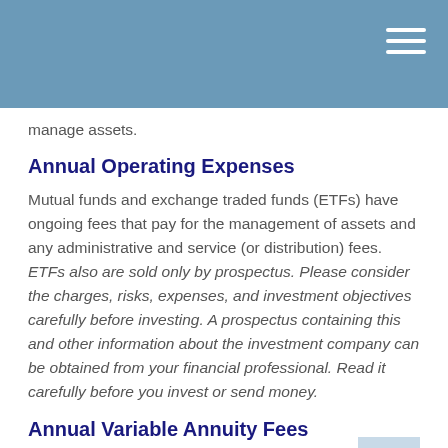manage assets.
Annual Operating Expenses
Mutual funds and exchange traded funds (ETFs) have ongoing fees that pay for the management of assets and any administrative and service (or distribution) fees. ETFs also are sold only by prospectus. Please consider the charges, risks, expenses, and investment objectives carefully before investing. A prospectus containing this and other information about the investment company can be obtained from your financial professional. Read it carefully before you invest or send money.
Annual Variable Annuity Fees
In addition to the annual operating expenses of the funds contained in an annuity, an annuity may have additional